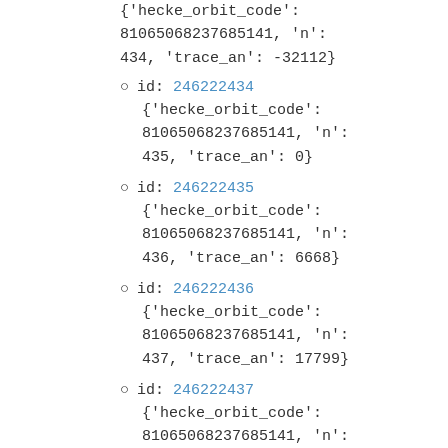{ 'hecke_orbit_code': 81065068237685141, 'n': 434, 'trace_an': -32112}
id: 246222434
{'hecke_orbit_code': 81065068237685141, 'n': 435, 'trace_an': 0}
id: 246222435
{'hecke_orbit_code': 81065068237685141, 'n': 436, 'trace_an': 6668}
id: 246222436
{'hecke_orbit_code': 81065068237685141, 'n': 437, 'trace_an': 17799}
id: 246222437
{'hecke_orbit_code': 81065068237685141, 'n': 438, 'trace_an': 0}
id: 246222438
{'hecke_orbit_code':